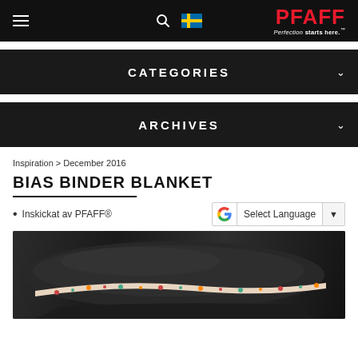PFAFF — Perfection starts here.
CATEGORIES
ARCHIVES
Inspiration > December 2016
BIAS BINDER BLANKET
Inskickat av PFAFF®
[Figure (photo): Folded dark grey fleece blanket with floral bias tape binding trim, photographed on a light background]